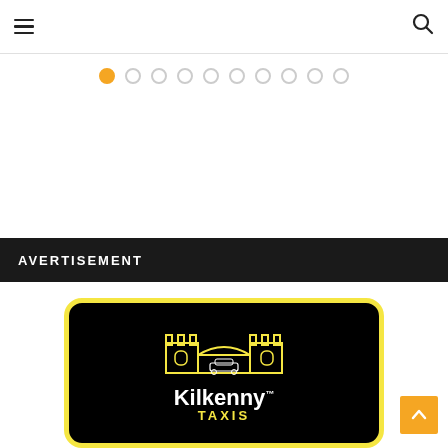Navigation header with hamburger menu and search icon
[Figure (infographic): Carousel dots navigation — 10 dots, first one filled orange, rest outlined gray]
AVERTISEMENT
[Figure (logo): Kilkenny Taxis logo — black rounded rectangle with yellow border, castle icon, car, and text 'Kilkenny TAXIS']
[Figure (infographic): Back to top button — orange square with upward chevron arrow]